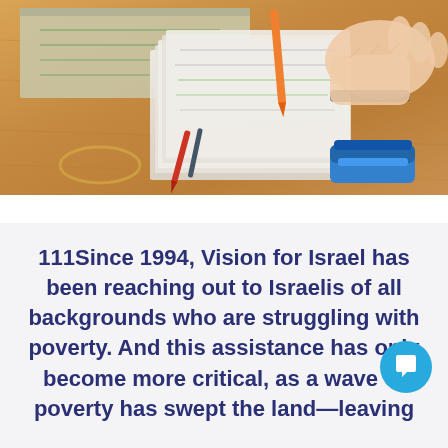[Figure (photo): A photo of a wooden desk with papers, notebooks, pens, a rubber band, and a blue stapler. A hand is reaching over a stack of papers/envelopes.]
111Since 1994, Vision for Israel has been reaching out to Israelis of all backgrounds who are struggling with poverty. And this assistance has only become more critical, as a wave of poverty has swept the land—leaving